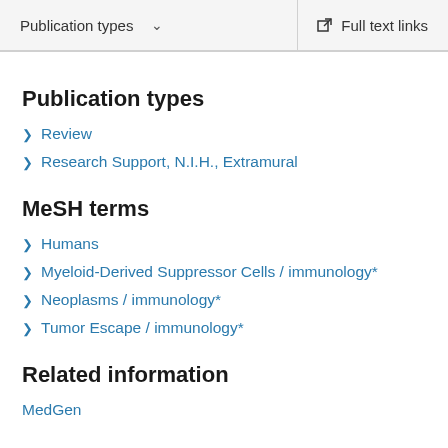Publication types  ∨   Full text links
Publication types
Review
Research Support, N.I.H., Extramural
MeSH terms
Humans
Myeloid-Derived Suppressor Cells / immunology*
Neoplasms / immunology*
Tumor Escape / immunology*
Related information
MedGen